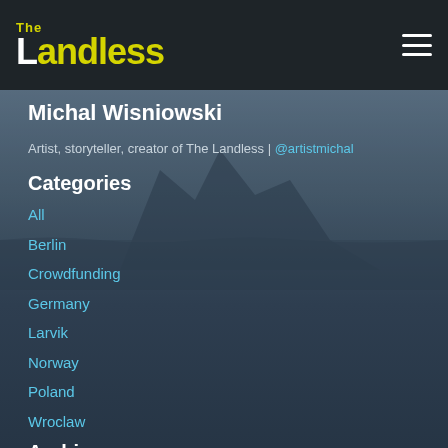The Landless
Michal Wisniowski
Artist, storyteller, creator of The Landless | @artistmichal
Categories
All
Berlin
Crowdfunding
Germany
Larvik
Norway
Poland
Wroclaw
Archives
September 2017
August 2017